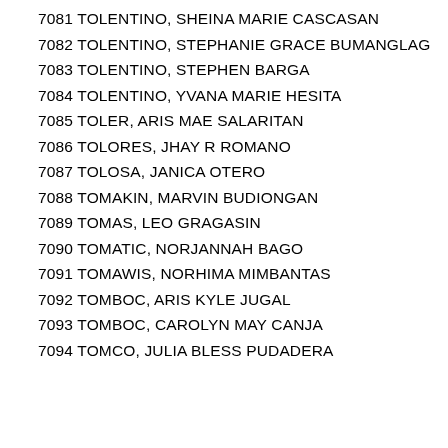7081 TOLENTINO, SHEINA MARIE CASCASAN
7082 TOLENTINO, STEPHANIE GRACE BUMANGLAG
7083 TOLENTINO, STEPHEN BARGA
7084 TOLENTINO, YVANA MARIE HESITA
7085 TOLER, ARIS MAE SALARITAN
7086 TOLORES, JHAY R ROMANO
7087 TOLOSA, JANICA OTERO
7088 TOMAKIN, MARVIN BUDIONGAN
7089 TOMAS, LEO GRAGASIN
7090 TOMATIC, NORJANNAH BAGO
7091 TOMAWIS, NORHIMA MIMBANTAS
7092 TOMBOC, ARIS KYLE JUGAL
7093 TOMBOC, CAROLYN MAY CANJA
7094 TOMCO, JULIA BLESS PUDADERA